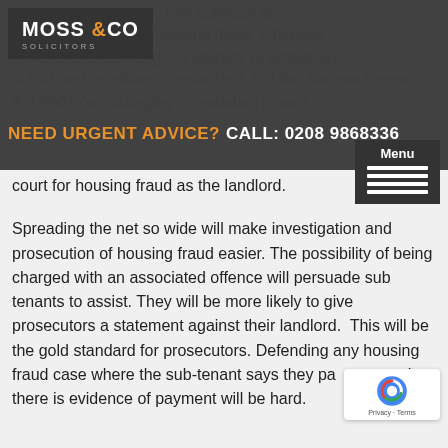MOSS & CO SOLICITORS — NEED URGENT ADVICE? CALL: 0208 9868336
...advertiser, introducer, rent collector or ...be prosecuted for housing fraud. Offences ...aiding and abetting, conspiracy to unlawfully sublet and an offence under Part 2 of the Serious Crime Act 2007 (encouraging or assisting crime).
The whole subletting market is being targeted. Sub-tenants and agents are as likely to find themselves in court for housing fraud as the landlord.
Spreading the net so wide will make investigation and prosecution of housing fraud easier. The possibility of being charged with an associated offence will persuade sub tenants to assist. They will be more likely to give prosecutors a statement against their landlord.  This will be the gold standard for prosecutors. Defending any housing fraud case where the sub-tenant says they paid rent and there is evidence of payment will be hard.